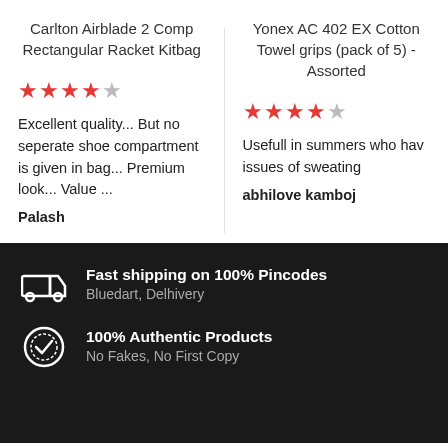Carlton Airblade 2 Comp Rectangular Racket Kitbag
Yonex AC 402 EX Cotton Towel grips (pack of 5) - Assorted
Excellent quality... But no seperate shoe compartment is given in bag... Premium look... Value ...
Palash
Usefull in summers who hav issues of sweating
abhilove kamboj
Fast shipping on 100% Pincodes
Bluedart, Delhivery
100% Authentic Products
No Fakes, No First Copy